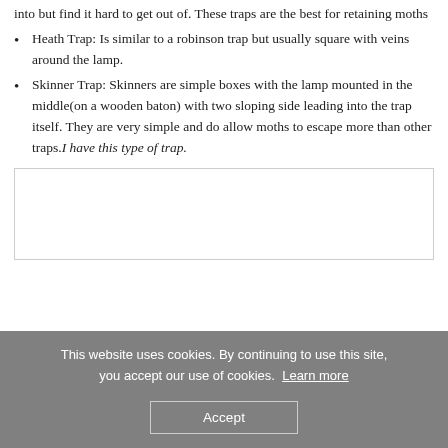into but find it hard to get out of. These traps are the best for retaining moths
Heath Trap: Is similar to a robinson trap but usually square with veins around the lamp.
Skinner Trap: Skinners are simple boxes with the lamp mounted in the middle(on a wooden baton) with two sloping side leading into the trap itself. They are very simple and do allow moths to escape more than other traps. I have this type of trap.
[Figure (photo): Empty image box with light border, likely a photo placeholder]
This website uses cookies. By continuing to use this site, you accept our use of cookies. Learn more
Accept